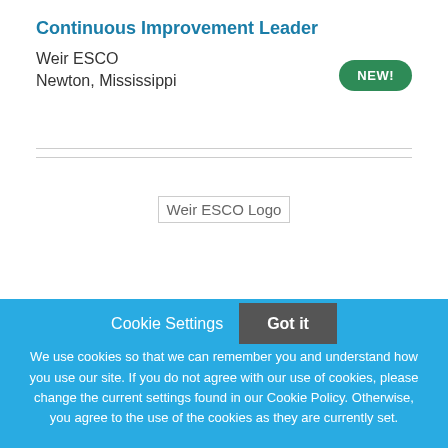Continuous Improvement Leader
Weir ESCO
Newton, Mississippi
[Figure (other): NEW! badge - green oval button with white text]
[Figure (logo): Weir ESCO Logo placeholder image]
Cookie Settings
Got it
We use cookies so that we can remember you and understand how you use our site. If you do not agree with our use of cookies, please change the current settings found in our Cookie Policy. Otherwise, you agree to the use of the cookies as they are currently set.